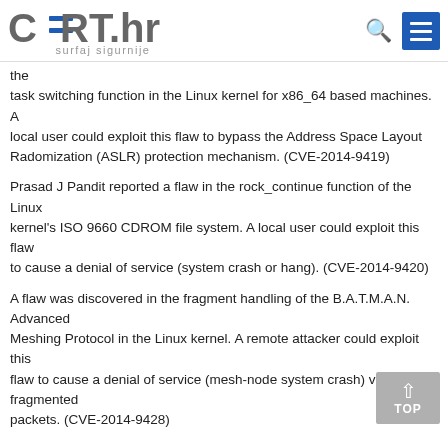CERT.hr surfaj sigurnije
the task switching function in the Linux kernel for x86_64 based machines. A local user could exploit this flaw to bypass the Address Space Layout Radomization (ASLR) protection mechanism. (CVE-2014-9419)
Prasad J Pandit reported a flaw in the rock_continue function of the Linux kernel's ISO 9660 CDROM file system. A local user could exploit this flaw to cause a denial of service (system crash or hang). (CVE-2014-9420)
A flaw was discovered in the fragment handling of the B.A.T.M.A.N. Advanced Meshing Protocol in the Linux kernel. A remote attacker could exploit this flaw to cause a denial of service (mesh-node system crash) via fragmented packets. (CVE-2014-9428)